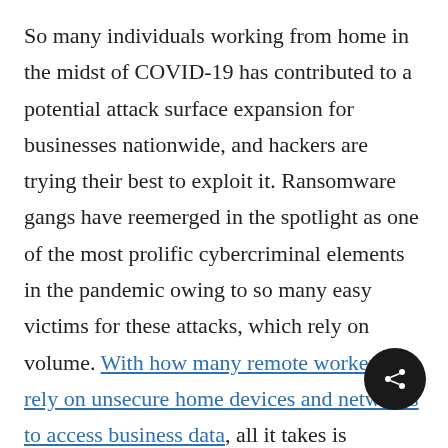So many individuals working from home in the midst of COVID-19 has contributed to a potential attack surface expansion for businesses nationwide, and hackers are trying their best to exploit it. Ransomware gangs have reemerged in the spotlight as one of the most prolific cybercriminal elements in the pandemic owing to so many easy victims for these attacks, which rely on volume. With how many remote workers rely on unsecure home devices and networks to access business data, all it takes is persistence for hackers to identify and breach someone to piggyback on for greater network access.